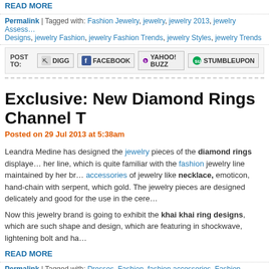READ MORE
Permalink | Tagged with: Fashion Jewelry, jewelry, jewelry 2013, jewelry Accessories Designs, jewelry Fashion, jewelry Fashion Trends, jewelry Styles, jewelry Trends
POST TO: DIGG FACEBOOK YAHOO! BUZZ STUMBLEUPON
Exclusive: New Diamond Rings Channel T
Posted on 29 Jul 2013 at 5:38am
Leandra Medine has designed the jewelry pieces of the diamond rings displayed her line, which is quite familiar with the fashion jewelry line maintained by her br... accessories of jewelry like necklace, emoticon, hand-chain with serpent, which gold. The jewelry pieces are designed delicately and good for the use in the cere...
Now this jewelry brand is going to exhibit the khai khai ring designs, which are such shape and design, which are featuring in shockwave, lightening bolt and ha...
READ MORE
Permalink | Tagged with: Dresses, Fashion, fashion accessories, Fashion Dres... latest fashion 2013
POST TO: DIGG FACEBOOK YAHOO! BUZZ STUMBLEUPON
Affordable 17 Beautiful Engagement Rings
Posted on 27 Jul 2013 at 4:47am